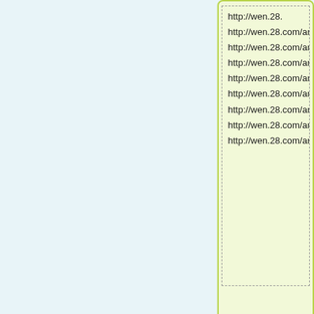[Figure (screenshot): Left panel with light blue background, no content visible.]
http://wen.28.com/article/
http://wen.28.com/article/
http://wen.28.com/article/
http://wen.28.com/article/
http://wen.28.com/article/
http://wen.28.com/article/
http://wen.28.com/article/
http://wen.28.com/article/
Re:■■■■■■■■■■ | 2017-2-
http://wen.28.c
http://wen.28.c
http://wen.28.c
http://wen.28.com/article/
http://wen.28.com/article/
http://wen.28.com/article/
http://wen.28.com/article/
http://wen.28.com/article/
http://wen.28.com/article/
http://wen.28.com/article/